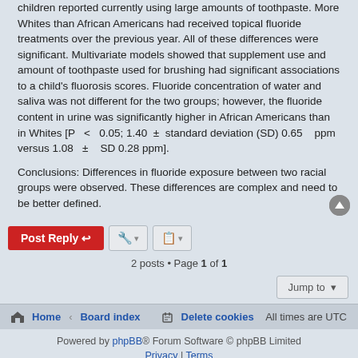children reported currently using large amounts of toothpaste. More Whites than African Americans had received topical fluoride treatments over the previous year. All of these differences were significant. Multivariate models showed that supplement use and amount of toothpaste used for brushing had significant associations to a child's fluorosis scores. Fluoride concentration of water and saliva was not different for the two groups; however, the fluoride content in urine was significantly higher in African Americans than in Whites [P < 0.05; 1.40 ± standard deviation (SD) 0.65 ppm versus 1.08 ± SD 0.28 ppm].
Conclusions: Differences in fluoride exposure between two racial groups were observed. These differences are complex and need to be better defined.
2 posts • Page 1 of 1
Home · Board index | Delete cookies | All times are UTC
Powered by phpBB® Forum Software © phpBB Limited | Privacy | Terms